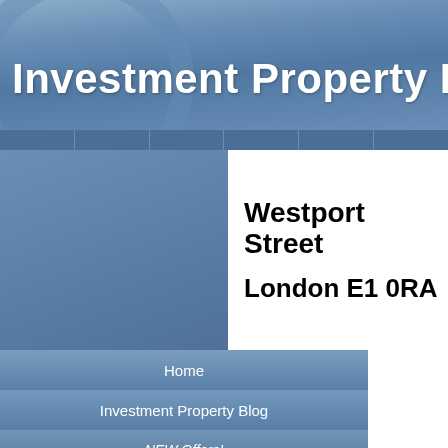Investment Property Financing
Westport Street
London E1 0RA
Home
Investment Property Blog
NEW Offers!
Building Wealth
Investment property
Buy to Let
Property for Sale